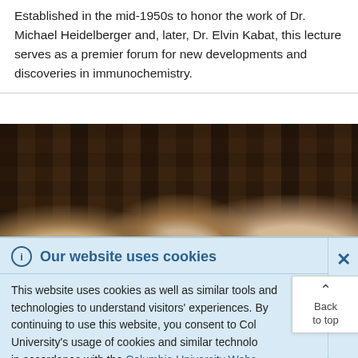Established in the mid-1950s to honor the work of Dr. Michael Heidelberger and, later, Dr. Elvin Kabat, this lecture serves as a premier forum for new developments and discoveries in immunochemistry.
[Figure (photo): A photograph of three men sitting in an auditorium with rows of seats visible in the background. The three men are partially visible, showing their faces/heads. The auditorium seats are dark brown/wooden.]
Our website uses cookies
This website uses cookies as well as similar tools and technologies to understand visitors' experiences. By continuing to use this website, you consent to Columbia University's usage of cookies and similar technologies, in accordance with the Columbia University Website Cookie Notice.